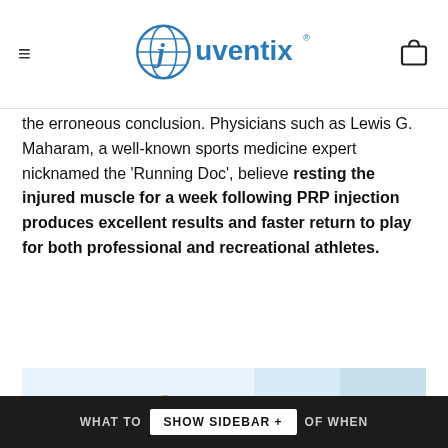Juventix [logo]
the erroneous conclusion. Physicians such as Lewis G. Maharam, a well-known sports medicine expert nicknamed the 'Running Doc', believe resting the injured muscle for a week following PRP injection produces excellent results and faster return to play for both professional and recreational athletes.
[Figure (photo): Composite medical image showing: left panel - a 'PRP KIT' box with a red prohibition circle/slash symbol over it, and a diagram of a syringe with 'Buffy Coat Area' label; right panel - two comparison images labeled 'Lower Quality Gel Separator' (showing a blue/clear syringe with separation) and 'High Quality Gel Separator Titrated Heavier' (showing golden-yellow separated PRP in vials).]
WHAT TO [SHOW SIDEBAR +] OF WHEN CO...